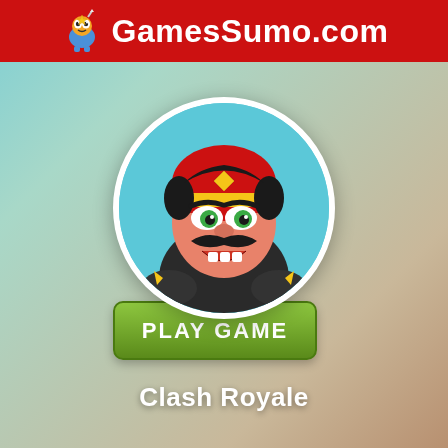GamesSumo.com
[Figure (illustration): Clash Royale game icon showing an angry cartoon knight character with red helmet, black mustache, inside a circular frame with white border, above a green PLAY GAME button]
Clash Royale